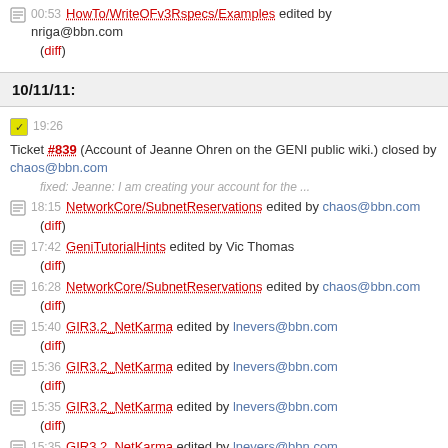00:53 HowTo/WriteOFv3Rspecs/Examples edited by nriga@bbn.com (diff)
10/11/11:
19:26 Ticket #839 (Account of Jeanne Ohren on the GENI public wiki.) closed by chaos@bbn.com fixed: Jeanne: I am creating your account for the ...
18:15 NetworkCore/SubnetReservations edited by chaos@bbn.com (diff)
17:42 GeniTutorialHints edited by Vic Thomas (diff)
16:28 NetworkCore/SubnetReservations edited by chaos@bbn.com (diff)
15:40 GIR3.2_NetKarma edited by lnevers@bbn.com (diff)
15:36 GIR3.2_NetKarma edited by lnevers@bbn.com (diff)
15:35 GIR3.2_NetKarma edited by lnevers@bbn.com (diff)
15:35 GIR3.2_NetKarma edited by lnevers@bbn.com